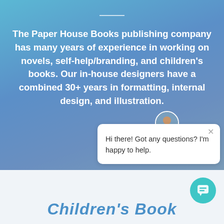The Paper House Books publishing company has many years of experience in working on novels, self-help/branding, and children's books. Our in-house designers have a combined 30+ years in formatting, internal design, and illustration.
[Figure (screenshot): Chat popup with avatar of a woman and message: Hi there! Got any questions? I'm happy to help.]
Hi there! Got any questions? I'm happy to help.
[Figure (illustration): Teal circular chat icon button in bottom right corner]
Children's Book